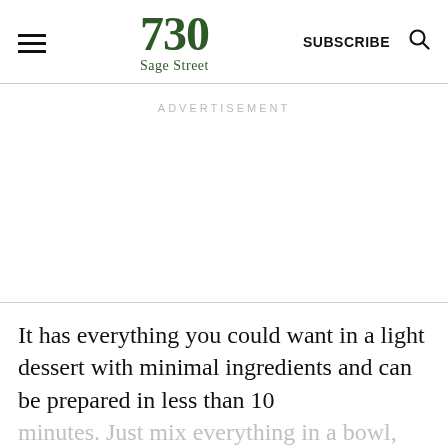730 Sage Street | SUBSCRIBE
ADVERTISEMENT
It has everything you could want in a light dessert with minimal ingredients and can be prepared in less than 10 minutes. Just mix everything in a bowl, and that's it.